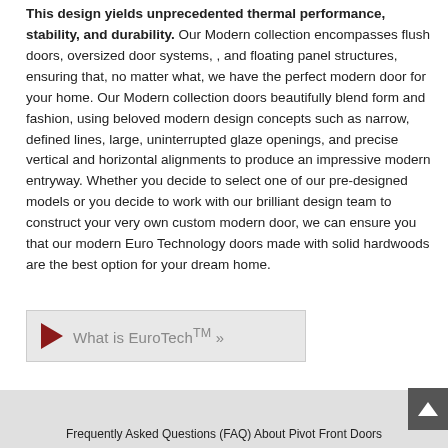This design yields unprecedented thermal performance, stability, and durability. Our Modern collection encompasses flush doors, oversized door systems, , and floating panel structures, ensuring that, no matter what, we have the perfect modern door for your home. Our Modern collection doors beautifully blend form and fashion, using beloved modern design concepts such as narrow, defined lines, large, uninterrupted glaze openings, and precise vertical and horizontal alignments to produce an impressive modern entryway. Whether you decide to select one of our pre-designed models or you decide to work with our brilliant design team to construct your very own custom modern door, we can ensure you that our modern Euro Technology doors made with solid hardwoods are the best option for your dream home.
[Figure (other): A clickable button with a dark red play arrow on the left and the text 'What is EuroTech TM »' on a light gray background]
Frequently Asked Questions (FAQ) About Pivot Front Doors